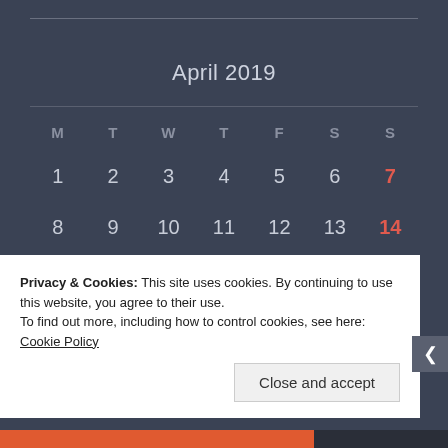April 2019
| M | T | W | T | F | S | S |
| --- | --- | --- | --- | --- | --- | --- |
| 1 | 2 | 3 | 4 | 5 | 6 | 7 |
| 8 | 9 | 10 | 11 | 12 | 13 | 14 |
| 15 | 16 | 17 | 18 | 19 | 20 | 21 |
| 22 | 23 | 24 | 25 | 26 | 27 | 28 |
Privacy & Cookies: This site uses cookies. By continuing to use this website, you agree to their use.
To find out more, including how to control cookies, see here: Cookie Policy
Close and accept